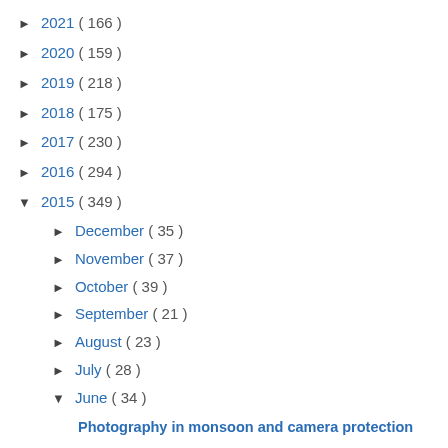► 2021 ( 166 )
► 2020 ( 159 )
► 2019 ( 218 )
► 2018 ( 175 )
► 2017 ( 230 )
► 2016 ( 294 )
▼ 2015 ( 349 )
► December ( 35 )
► November ( 37 )
► October ( 39 )
► September ( 21 )
► August ( 23 )
► July ( 28 )
▼ June ( 34 )
Photography in monsoon and camera protection
Elephant Parade- A brand that works towards Asian ...
Drive a Ferrari in Singapore. Rs 15000 for 15 mins